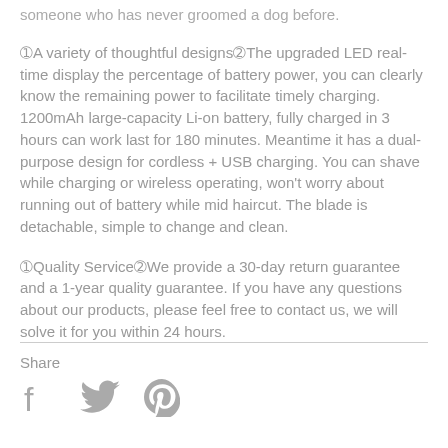…someone who has never groomed a dog before.
❶A variety of thoughtful designs❷The upgraded LED real-time display the percentage of battery power, you can clearly know the remaining power to facilitate timely charging. 1200mAh large-capacity Li-on battery, fully charged in 3 hours can work last for 180 minutes. Meantime it has a dual-purpose design for cordless + USB charging. You can shave while charging or wireless operating, won't worry about running out of battery while mid haircut. The blade is detachable, simple to change and clean.
❶Quality Service❷We provide a 30-day return guarantee and a 1-year quality guarantee. If you have any questions about our products, please feel free to contact us, we will solve it for you within 24 hours.
Share
[Figure (other): Social share icons: Facebook, Twitter, Pinterest]